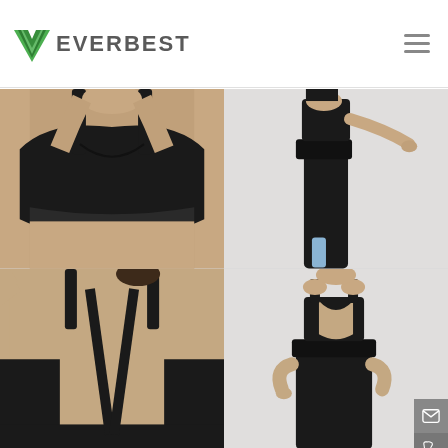[Figure (logo): Everbest logo with green V checkmark and grey EVERBEST text]
[Figure (photo): Four product photos of women's athletic wear: sports bra front close-up (top-left), woman in black leggings side view (top-right), sports bra back detail close-up (bottom-left), woman in sports bra and leggings back view (bottom-right)]